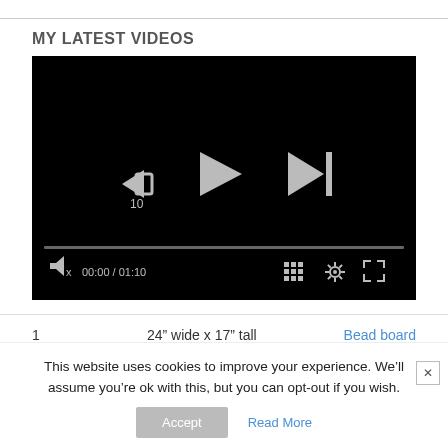MY LATEST VIDEOS
[Figure (screenshot): Video player with black background showing playback controls: rewind 10s button, play button, skip-next button, progress bar at 0, time display 00:00 / 01:10, grid icon, settings gear icon, fullscreen icon]
|  |  |  |
| --- | --- | --- |
| 1 | 24” wide x 17” tall | Bead board |
This website uses cookies to improve your experience. We’ll assume you’re ok with this, but you can opt-out if you wish.
Accept   Read More